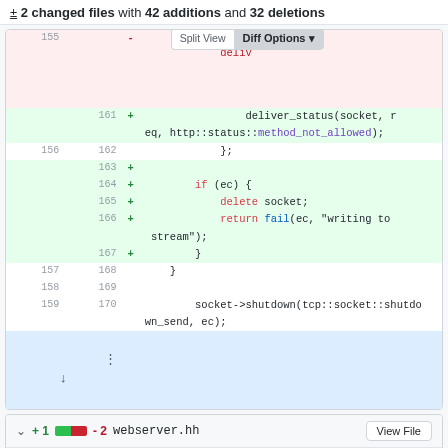± 2 changed files with 42 additions and 32 deletions
[Figure (screenshot): Code diff view showing changes to a C++ file. Lines 155-170 displayed in unified diff format with added lines (green) for error-handling code including if(ec) block with delete socket and return fail, and context lines showing }; closing braces and socket->shutdown call. A 'Split View / Diff Options' overlay button is visible.]
+ 1 - 2 webserver.hh
@ -56,8 +56,7 @@ namespace pEp {
56  56  void shutdown();